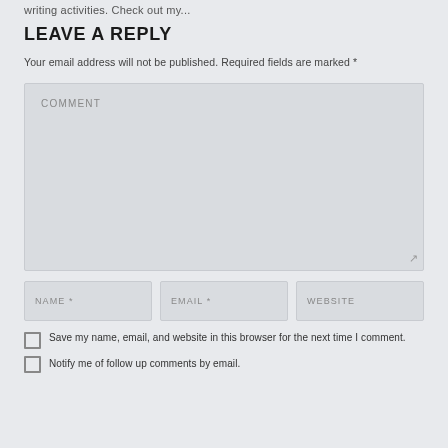writing activities. Check out my...
LEAVE A REPLY
Your email address will not be published. Required fields are marked *
[Figure (screenshot): Comment textarea input field with placeholder text COMMENT and resize handle]
[Figure (screenshot): Three input fields in a row: NAME *, EMAIL *, WEBSITE]
Save my name, email, and website in this browser for the next time I comment.
Notify me of follow up comments by email.